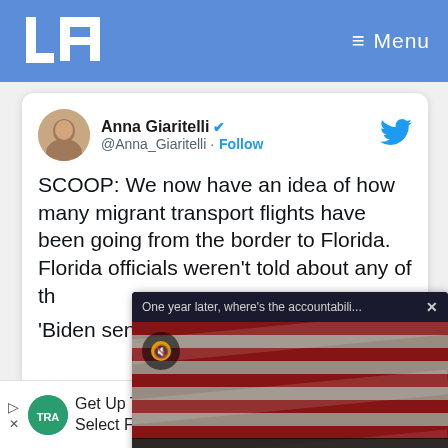LT — Menu
Anna Giaritelli @Anna_Giaritelli · Follow
SCOOP: We now have an idea of how many migrant transport flights have been going from the border to Florida. Florida officials weren't told about any of th...
'Biden sent 70 ... migrants from b...
[Figure (screenshot): Popup overlay with title 'One year later, where's the accountabili...' and video thumbnail showing US flags with text 'KILLED IN BIDEN'S BOTCHED AFGHANISTAN WITHDRAWAL?']
Get Up To $110 Off a Set of 4 Select Firestone Tires